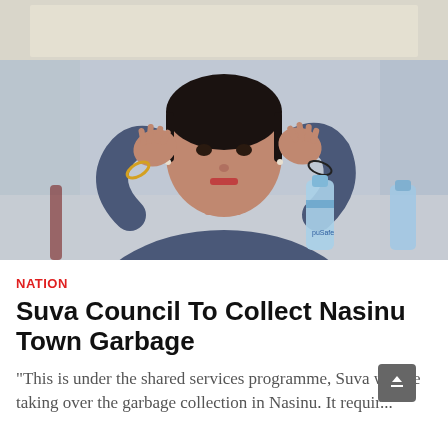[Figure (photo): A woman in a dark blue top gesturing with both hands raised, sitting at a table with water bottles in front of her. Background is a light wall.]
NATION
Suva Council To Collect Nasinu Town Garbage
"This is under the shared services programme, Suva will be taking over the garbage collection in Nasinu. It requir...